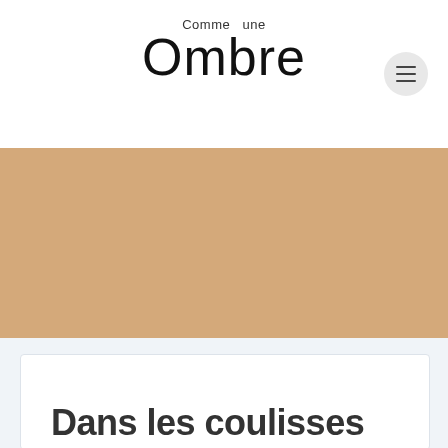Comme une Ombre
[Figure (photo): Large tan/beige colored rectangular hero image area]
Dans les coulisses